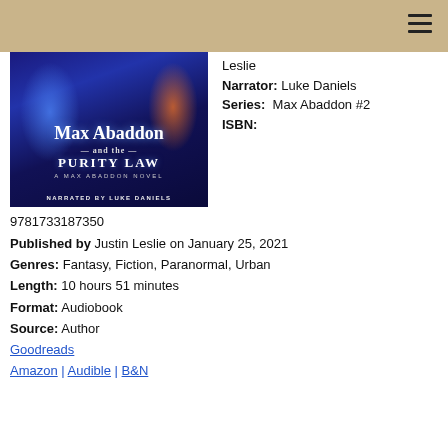[Figure (photo): Book cover for Max Abaddon and the Purity Law, a Max Abaddon Novel, narrated by Luke Daniels. Dark blue fantasy cover with glowing blue and orange magical effects.]
Leslie
Narrator: Luke Daniels
Series: Max Abaddon #2
ISBN:
9781733187350
Published by Justin Leslie on January 25, 2021
Genres: Fantasy, Fiction, Paranormal, Urban
Length: 10 hours 51 minutes
Format: Audiobook
Source: Author
Goodreads
Amazon | Audible | B&N